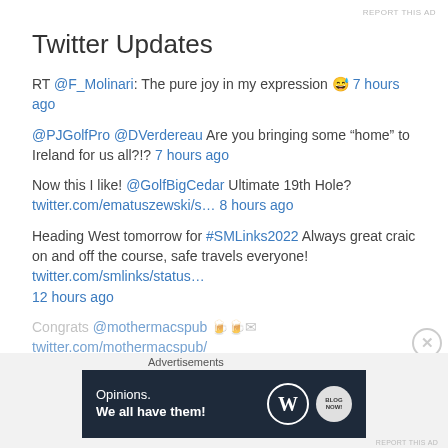REPORT THIS AD
Twitter Updates
RT @F_Molinari: The pure joy in my expression 😅 7 hours ago
@PJGolfPro @DVerdereau Are you bringing some “home” to Ireland for us all?!? 7 hours ago
Now this I like! @GolfBigCedar Ultimate 19th Hole? twitter.com/ematuszewski/s… 8 hours ago
Heading West tomorrow for #SMLinks2022 Always great craic on and off the course, safe travels everyone! twitter.com/smlinks/status… 12 hours ago
Congrats @mothermacspub 🍺🍺✉ twitter.com/mothermacspub/
[Figure (infographic): Dark blue advertisement banner with text 'Opinions. We all have them!' and WordPress and other logos]